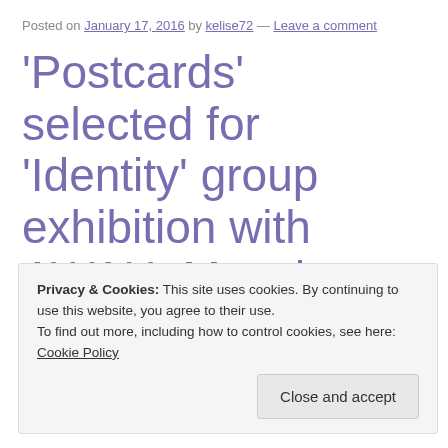Posted on January 17, 2016 by kelise72 — Leave a comment
'Postcards' selected for 'Identity' group exhibition with AWAH, Manchester
Privacy & Cookies: This site uses cookies. By continuing to use this website, you agree to their use. To find out more, including how to control cookies, see here: Cookie Policy
Close and accept